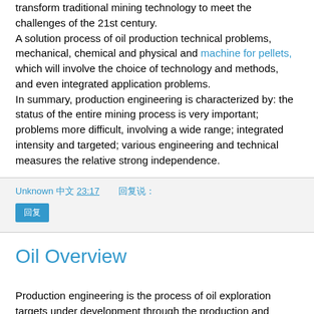transform traditional mining technology to meet the challenges of the 21st century. A solution process of oil production technical problems, mechanical, chemical and physical and machine for pellets, which will involve the choice of technology and methods, and even integrated application problems. In summary, production engineering is characterized by: the status of the entire mining process is very important; problems more difficult, involving a wide range; integrated intensity and targeted; various engineering and technical measures the relative strong independence.
Unknown [Chinese chars] 23:17    [Chinese chars]:
[Reply button]
Oil Overview
Production engineering is the process of oil exploration targets under development through the production and injection wells for reservoir engineering and technical